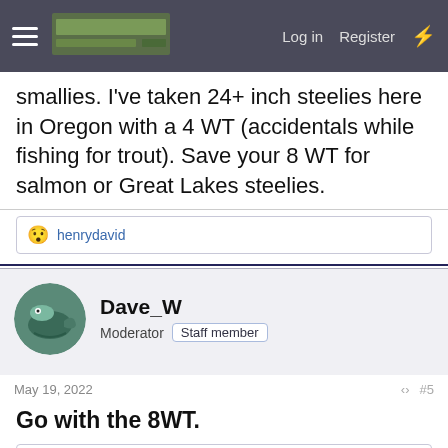Log in  Register
smallies. I've taken 24+ inch steelies here in Oregon with a 4 WT (accidentals while fishing for trout). Save your 8 WT for salmon or Great Lakes steelies.
😯 henrydavid
Dave_W
Moderator  Staff member
May 19, 2022    #5
Go with the 8WT.
👍 henrydavid, TPrettyman and turkey
turkey
Well-known member